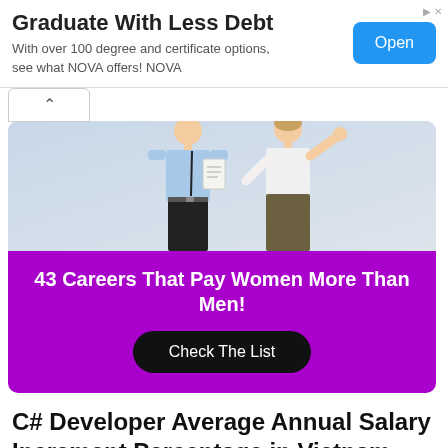[Figure (screenshot): Advertisement banner: 'Graduate With Less Debt' with subtitle 'With over 100 degree and certificate options, see what NOVA offers! NOVA' and a blue 'Open' button on the right.]
[Figure (infographic): Promotional card showing two professionals (man and woman) with a purple background below reading '43 Careers That Pay Women More Than Men!' and a black 'Check The List' button.]
C# Developer Average Annual Salary Increment Percentage in Vietnam
How much are annual salary increments in